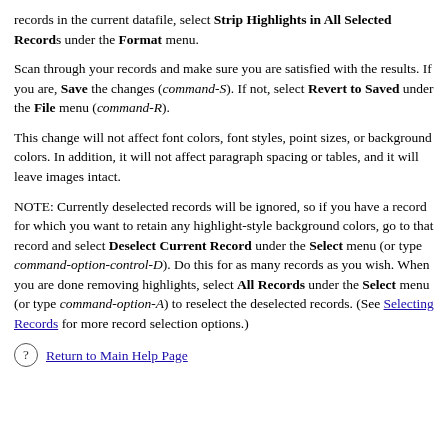records in the current datafile, select Strip Highlights in All Selected Records under the Format menu.
Scan through your records and make sure you are satisfied with the results. If you are, Save the changes (command-S). If not, select Revert to Saved under the File menu (command-R).
This change will not affect font colors, font styles, point sizes, or background colors. In addition, it will not affect paragraph spacing or tables, and it will leave images intact.
NOTE: Currently deselected records will be ignored, so if you have a record for which you want to retain any highlight-style background colors, go to that record and select Deselect Current Record under the Select menu (or type command-option-control-D). Do this for as many records as you wish. When you are done removing highlights, select All Records under the Select menu (or type command-option-A) to reselect the deselected records. (See Selecting Records for more record selection options.)
Return to Main Help Page